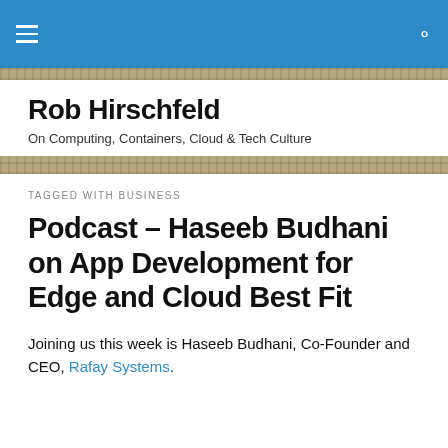Rob Hirschfeld — On Computing, Containers, Cloud & Tech Culture
Rob Hirschfeld
On Computing, Containers, Cloud & Tech Culture
TAGGED WITH BUSINESS
Podcast – Haseeb Budhani on App Development for Edge and Cloud Best Fit
Joining us this week is Haseeb Budhani, Co-Founder and CEO, Rafay Systems.